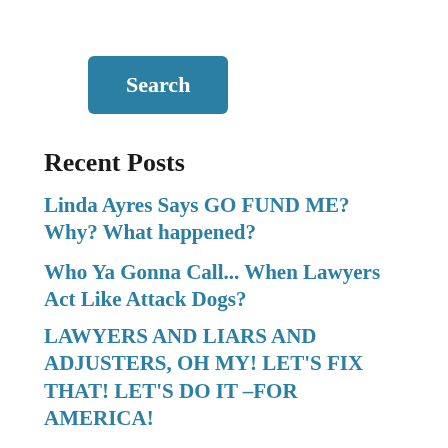[Figure (other): Search button — teal/blue rounded rectangle with white bold text 'Search']
Recent Posts
Linda Ayres Says GO FUND ME? Why? What happened?
Who Ya Gonna Call... When Lawyers Act Like Attack Dogs?
LAWYERS AND LIARS AND ADJUSTERS, OH MY! LET'S FIX THAT! LET'S DO IT –FOR AMERICA!
WHEN INSURANCE CARRIERS FAIL HOME OWNERS, DESTROY THEIR